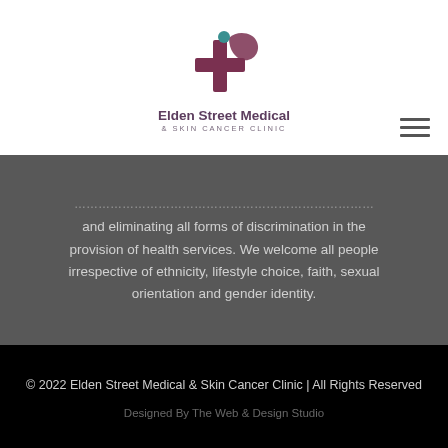[Figure (logo): Elden Street Medical & Skin Cancer Clinic logo — a stylized cross with wing/hand shape and teal dot above, with clinic name below]
and eliminating all forms of discrimination in the provision of health services. We welcome all people irrespective of ethnicity, lifestyle choice, faith, sexual orientation and gender identity.
© 2022 Elden Street Medical & Skin Cancer Clinic | All Rights Reserved
Designed By The Web & Design Studio